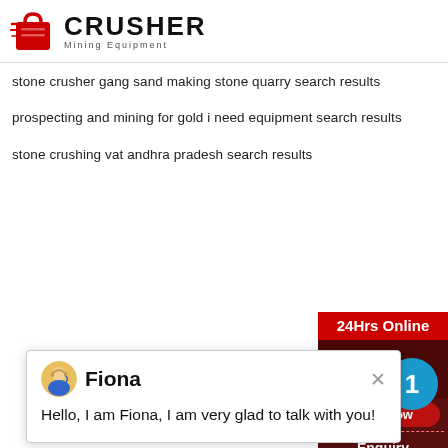[Figure (logo): Crusher Mining Equipment logo with red shopping bag icon and bold CRUSHER text]
stone crusher gang sand making stone quarry search results
prospecting and mining for gold i need equipment search results
stone crushing vat andhra pradesh search results
[Figure (screenshot): Chat popup with avatar of Fiona saying: Hello, I am Fiona, I am very glad to talk with you!]
CONTACTS
[Figure (infographic): Green map pin icon for 'our position']
our position
[Figure (infographic): Green phone icon]
+8615516432285
[Figure (infographic): Green email/envelope icon]
[Figure (infographic): Right sidebar: 24Hrs Online, Need & suggestions, Chat Now button (blue badge with 1), Enquiry, limingjlmofen@sina.com]